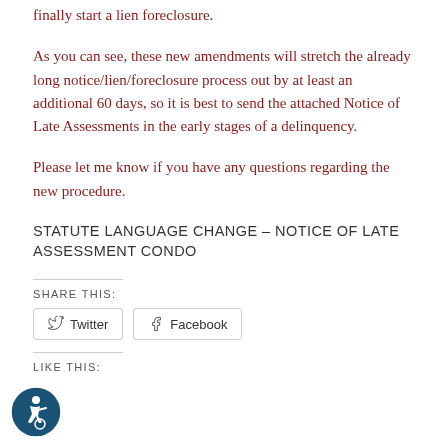finally start a lien foreclosure.
As you can see, these new amendments will stretch the already long notice/lien/foreclosure process out by at least an additional 60 days, so it is best to send the attached Notice of Late Assessments in the early stages of a delinquency.
Please let me know if you have any questions regarding the new procedure.
STATUTE LANGUAGE CHANGE – NOTICE OF LATE ASSESSMENT CONDO
SHARE THIS:
Twitter  Facebook
LIKE THIS: